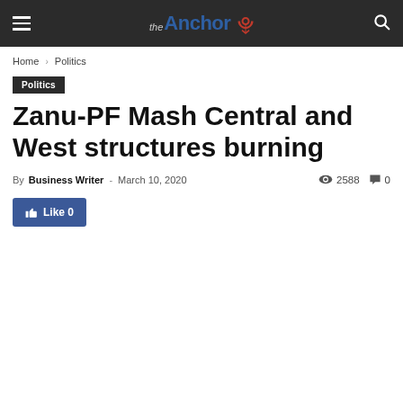the Anchor — navigation bar with hamburger menu, logo, and search icon
Home › Politics
Politics
Zanu-PF Mash Central and West structures burning
By Business Writer - March 10, 2020   2588   0
Like 0